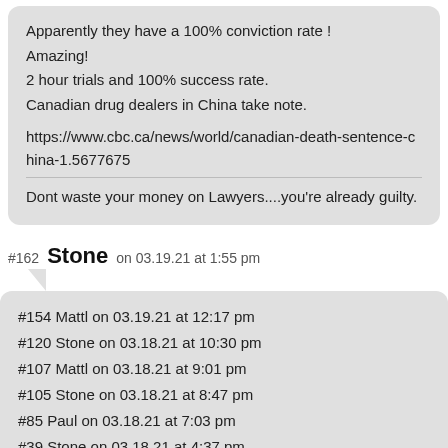Apparently they have a 100% conviction rate !
Amazing!
2 hour trials and 100% success rate.
Canadian drug dealers in China take note.

https://www.cbc.ca/news/world/canadian-death-sentence-china-1.5677675

Dont waste your money on Lawyers....you're already guilty.
#162 Stone on 03.19.21 at 1:55 pm
#154 Mattl on 03.19.21 at 12:17 pm
#120 Stone on 03.18.21 at 10:30 pm
#107 Mattl on 03.18.21 at 9:01 pm
#105 Stone on 03.18.21 at 8:47 pm
#85 Paul on 03.18.21 at 7:03 pm
#39 Stone on 03.18.21 at 4:37 pm

Daily obsession with your gains (and eventual losses) is not at all healthy.